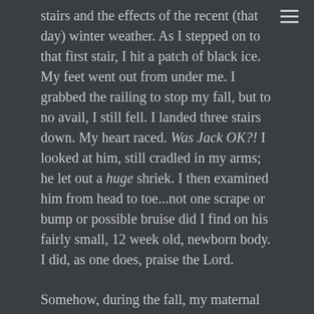stairs and the effects of the recent (that day) winter weather. As I stepped on to that first stair, I hit a patch of black ice. My feet went out from under me. I grabbed the railing to stop my fall, but to no avail, I still fell. I landed three stairs down. My heart raced. Was Jack OK?! I looked at him, still cradled in my arms; he let out a huge shriek. I then examined him from head to toe...not one scrape or bump or possible bruise did I find on his fairly small, 12 week old, newborn body. I did, as one does, praise the Lord.
Somehow, during the fall, my maternal instincts kicked in; somehow, I was able to contort and twist my body so that I was the one who absorbed the fall–between me elbow and me bum–and protected my baby. I didn't think about it...it just happened. I have often wondered what I would do should I slip down the stairs carrying one of my babies...I have never been able to come up with a good